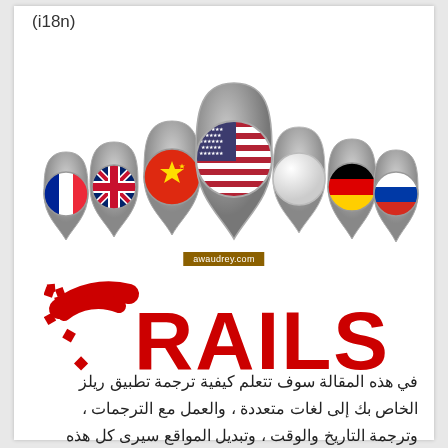(i18n)
[Figure (illustration): Seven map pin location markers with country flags inside them (France, UK, China, USA, blank/white, Germany, Russia) arranged in a fan/arc pattern on a white background. The central and largest pin shows the USA flag.]
[Figure (logo): Ruby on Rails logo: a red partial circle (speed dial/gauge) with dashed red squares around the arc on the left, followed by bold red text 'RAILS'. Logo has watermark 'awaudrey.com' across it.]
في هذه المقالة سوف تتعلم كيفية ترجمة تطبيق ريلز الخاص بك إلى لغات متعددة ، والعمل مع الترجمات ، وترجمة التاريخ والوقت ، وتبديل المواقع سيرى كل هذه